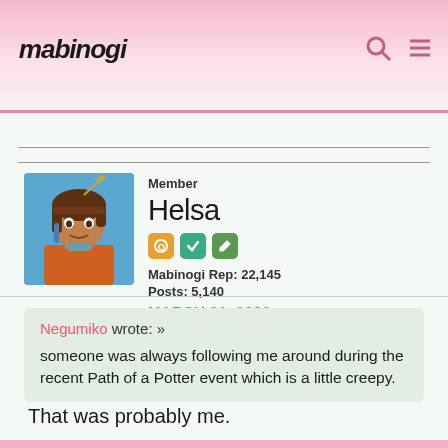[Figure (logo): Mabinogi website logo in stylized handwritten font]
Member
Helsa
Mabinogi Rep: 22,145
Posts: 5,140
MARCH 21, 2020
Negumiko wrote: »
someone was always following me around during the recent Path of a Potter event which is a little creepy.
That was probably me.